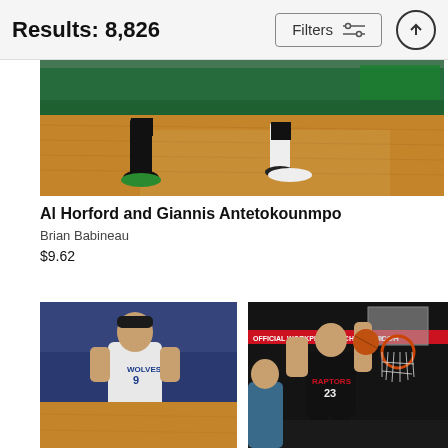Results: 8,826 | Filters
[Figure (photo): Basketball court photo showing players' feet and legs running on a hardwood court with green arena seating in the background]
Al Horford and Giannis Antetokounmpo
Brian Babineau
$9.62
[Figure (photo): Basketball player wearing Minnesota Timberwolves jersey number 9 (Ricky Rubio) dribbling on court]
[Figure (photo): Basketball player wearing Toronto Raptors jersey number 23 going up for a layup near the basket]